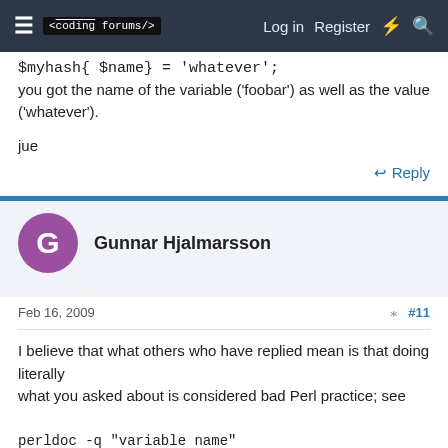≡  <coding forums/>   Log in   Register   ⚡   🔍
$myhash{ $name} = 'whatever';
you got the name of the variable ('foobar') as well as the value
('whatever').
jue
↩ Reply
Gunnar Hjalmarsson
Feb 16, 2009   #11
I believe that what others who have replied mean is that doing literally
what you asked about is considered bad Perl practice; see

perldoc -q "variable name"